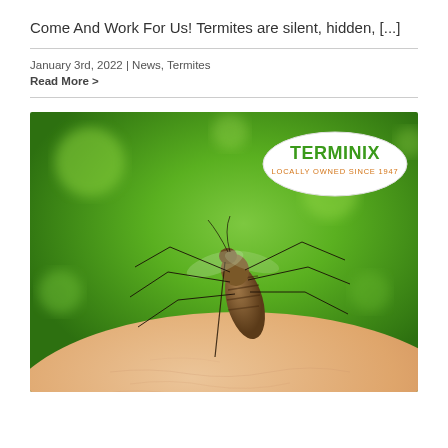Come And Work For Us! Termites are silent, hidden, [...]
January 3rd, 2022 | News, Termites
Read More >
[Figure (photo): Close-up photo of a mosquito feeding on human skin with green blurred background. Terminix logo overlay in top-right corner with text 'LOCALLY OWNED SINCE 1947'.]